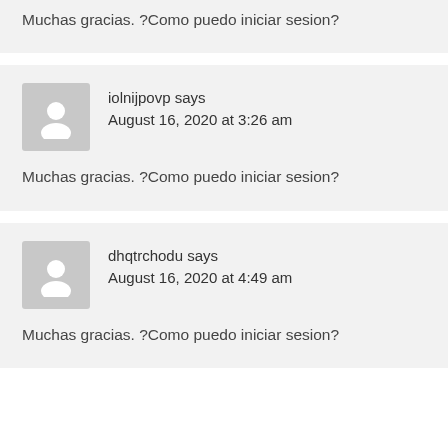Muchas gracias. ?Como puedo iniciar sesion?
iolnijpovp says
August 16, 2020 at 3:26 am
Muchas gracias. ?Como puedo iniciar sesion?
dhqtrchodu says
August 16, 2020 at 4:49 am
Muchas gracias. ?Como puedo iniciar sesion?